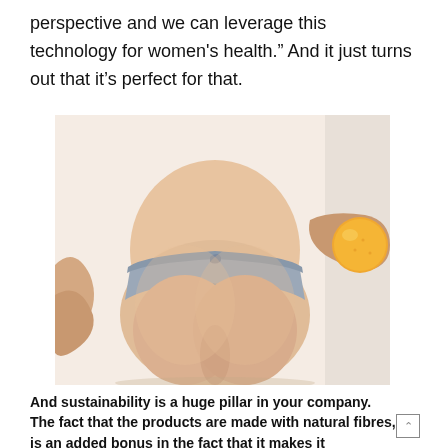perspective and we can leverage this technology for women's health.” And it just turns out that it’s perfect for that.
[Figure (photo): A woman from behind wearing gray underwear/thong, with a hand holding an orange/lemon visible on the right side. The image is a fashion or health product promotional photo.]
And sustainability is a huge pillar in your company. The fact that the products are made with natural fibres, is an added bonus in the fact that it makes it completely biodegradable. Why has sustainability continued to be a pillar in your